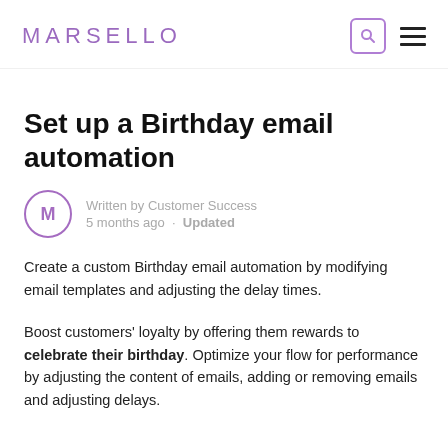MARSELLO
Set up a Birthday email automation
Written by Customer Success
5 months ago · Updated
Create a custom Birthday email automation by modifying email templates and adjusting the delay times.
Boost customers' loyalty by offering them rewards to celebrate their birthday. Optimize your flow for performance by adjusting the content of emails, adding or removing emails and adjusting delays.